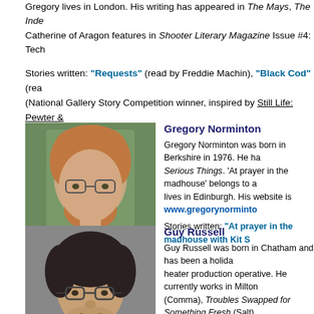Gregory lives in London. His writing has appeared in The Mays, The Inde... Catherine of Aragon features in Shooter Literary Magazine Issue #4: Tech...
Stories written: "Requests" (read by Freddie Machin), "Black Cod" (rea... (National Gallery Story Competition winner, inspired by Still Life: Pewter &...
[Figure (photo): Headshot of Gregory Norminton, a young man with reddish hair and beard wearing a light blue shirt, outdoors with green foliage background]
Gregory Norminton
Gregory Norminton was born in Berkshire in 1976. He ha... Serious Things. 'At prayer in the madhouse' belongs to a... lives in Edinburgh. His website is www.gregorynorminto...
Stories written: "At prayer in the madhouse with Kit S...
[Figure (photo): Headshot of Guy Russell, a middle-aged man with dark curly hair and glasses wearing a dark shirt]
Guy Russell
Guy Russell was born in Chatham and has been a holida... heater production operative. He currently works in Milton... (Comma), Troubles Swapped for Something Fresh (Salt)... magazines.
Stories written: "Asking Friends" (read by Gloria Sande...